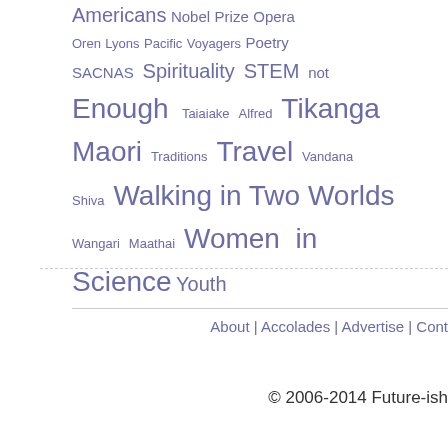Americans Nobel Prize Opera Oren Lyons Pacific Voyagers Poetry SACNAS Spirituality STEM not Enough Taiaiake Alfred Tikanga Maori Traditions Travel Vandana Shiva Walking in Two Worlds Wangari Maathai Women in Science Youth
About | Accolades | Advertise | Cont…
© 2006-2014 Future-ish